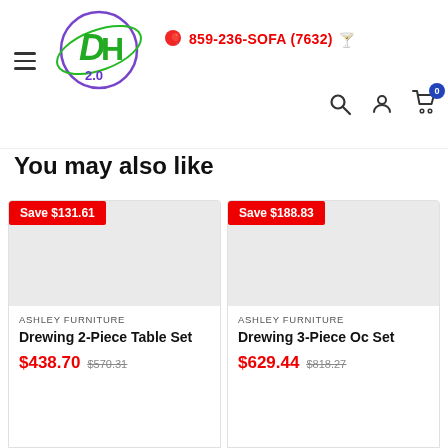DH 2.0 logo | 859-236-SOFA (7632)
You may also like
Save $131.61
ASHLEY FURNITURE
Drewing 2-Piece Table Set
$438.70  $570.31
Save $188.83
ASHLEY FURNITURE
Drewing 3-Piece Oc... Set
$629.44  $818.27